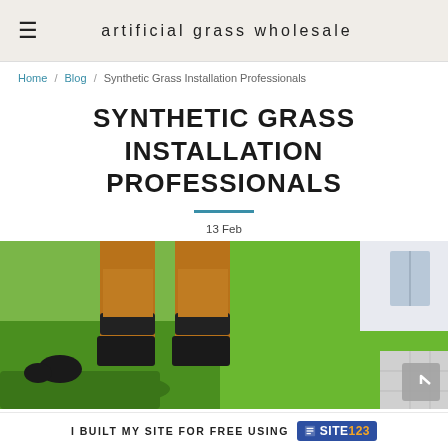artificial grass wholesale
Home / Blog / Synthetic Grass Installation Professionals
SYNTHETIC GRASS INSTALLATION PROFESSIONALS
13 Feb
[Figure (photo): A person installing artificial grass turf, rolling it out on a paved outdoor area. The installer is wearing work gloves and kneepads. Background shows a modern house with more artificial grass laid.]
I BUILT MY SITE FOR FREE USING SITE123